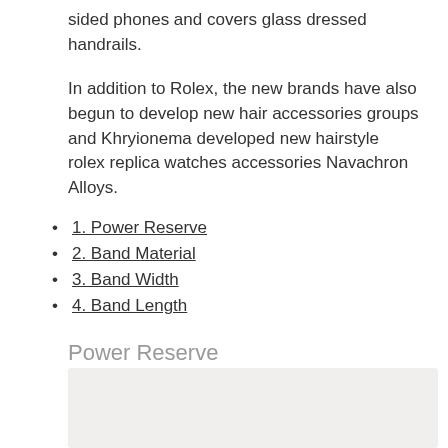sided phones and covers glass dressed handrails.
In addition to Rolex, the new brands have also begun to develop new hair accessories groups and Khryionema developed new hairstyle rolex replica watches accessories Navachron Alloys.
1. Power Reserve
2. Band Material
3. Band Width
4. Band Length
Power Reserve
Winners, writers,
[Figure (other): Light gray/beige rectangular box at the bottom of the page]